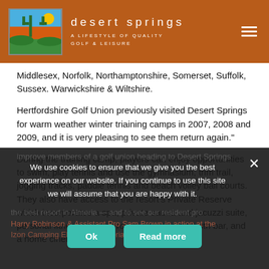desert springs — A LIFESTYLE OF QUALITY GOLF & LEISURE
Middlesex, Norfolk, Northamptonshire, Somerset, Suffolk, Sussex. Warwickshire & Wiltshire.
Hertfordshire Golf Union previously visited Desert Springs for warm weather winter triaining camps in 2007, 2008 and 2009, and it is very pleasing to see them return again."
During the training camp, players can enjoy opportunities to swim, play tennis and use the gymnasium, trim trail, jogging tracks, paddle tennis and beach volley ball courts. They also have access to the resort's Private Reserve which incorporates a spa, private sauna and jacuzzi suite, personal fitness workout room, games room with bar, and a home cinema.
We use cookies to ensure that we give you the best experience on our website. If you continue to use this site we will assume that you are happy with it.